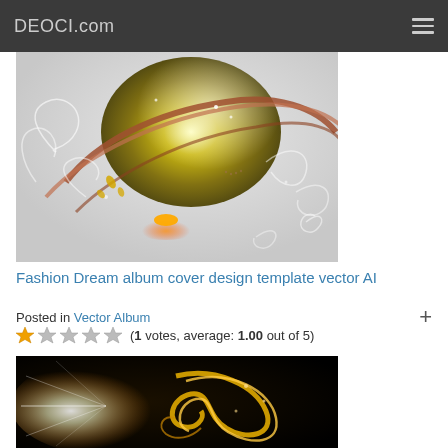DEOCI.com
[Figure (illustration): Decorative fashion vector illustration with golden orb, swirling floral patterns, glowing light effects on light gray background]
Fashion Dream album cover design template vector AI
Posted in Vector Album +
(1 votes, average: 1.00 out of 5)
[Figure (illustration): Decorative vector illustration with golden swirl and light rays on dark black background]